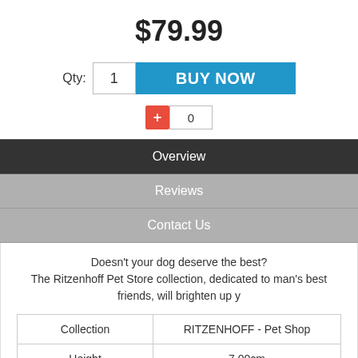$79.99
[Figure (screenshot): Quantity input field showing '1' and a blue BUY NOW button, with Qty: label. Below is a red plus button and a count field showing 0.]
Overview
Reviews
Contact Us
Doesn't your dog deserve the best? The Ritzenhoff Pet Store collection, dedicated to man's best friends, will brighten up y
| Collection | RITZENHOFF - Pet Shop |
| --- | --- |
| Height | 7.00cm |
| Widest diameter | 27.00cm |